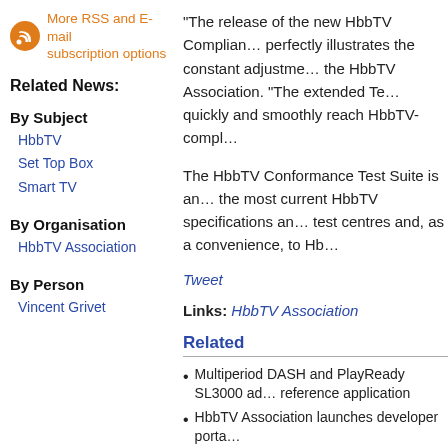More RSS and E-mail subscription options
Related News:
By Subject
HbbTV
Set Top Box
Smart TV
By Organisation
HbbTV Association
By Person
Vincent Grivet
“The release of the new HbbTV Complian… perfectly illustrates the constant adjustme… the HbbTV Association. “The extended Te… quickly and smoothly reach HbbTV-compl…
The HbbTV Conformance Test Suite is an… the most current HbbTV specifications an… test centres and, as a convenience, to Hb…
Tweet
Links: HbbTV Association
Related
Multiperiod DASH and PlayReady SL3000 ad… reference application
HbbTV Association launches developer porta…
HbbTV Symposium and Awards 2022 to be in…
HbbTV Association adds seven new member…